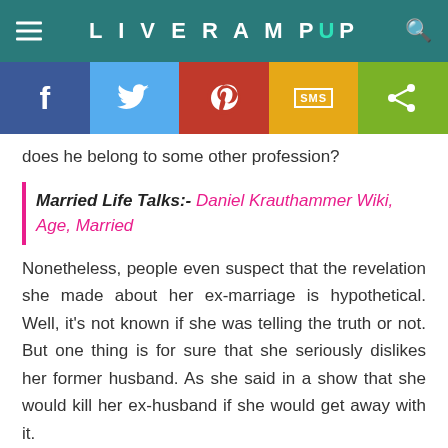LIVERAMPUP
[Figure (infographic): Social sharing bar with Facebook, Twitter, Pinterest, SMS, and Share buttons in blue, light blue, red, yellow, and green colors]
does he belong to some other profession?
Married Life Talks:- Daniel Krauthammer Wiki, Age, Married
Nonetheless, people even suspect that the revelation she made about her ex-marriage is hypothetical. Well, it's not known if she was telling the truth or not. But one thing is for sure that she seriously dislikes her former husband. As she said in a show that she would kill her ex-husband if she would get away with it.
×